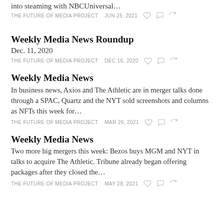into steaming with NBCUniversal…
THE FUTURE OF MEDIA PROJECT   JUN 25, 2021
Weekly Media News Roundup
Dec. 11, 2020
THE FUTURE OF MEDIA PROJECT   DEC 16, 2020
Weekly Media News
In business news, Axios and The Athletic are in merger talks done through a SPAC, Quartz and the NYT sold screenshots and columns as NFTs this week for…
THE FUTURE OF MEDIA PROJECT   MAR 26, 2021
Weekly Media News
Two more big mergers this week: Bezos buys MGM and NYT in talks to acquire The Athletic. Tribune already began offering packages after they closed the…
THE FUTURE OF MEDIA PROJECT   MAY 28, 2021